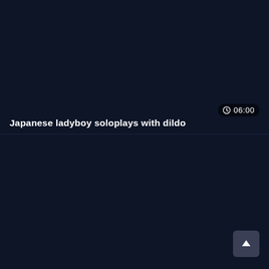[Figure (screenshot): Dark navy video thumbnail card (top half) with no visible thumbnail content, showing a duration badge '06:00' in lower-right corner]
Japanese ladyboy soloplays with dildo
[Figure (screenshot): Dark navy video thumbnail card (bottom half) with no visible thumbnail content and a scroll-to-top button in lower-right corner]